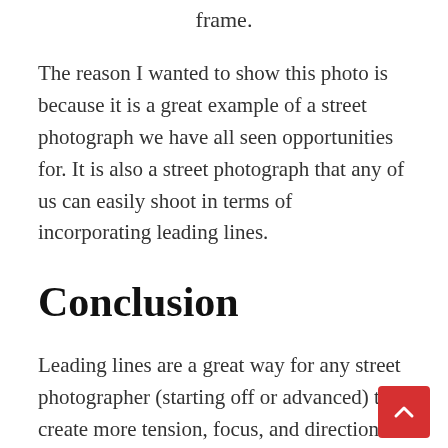frame.
The reason I wanted to show this photo is because it is a great example of a street photograph we have all seen opportunities for. It is also a street photograph that any of us can easily shoot in terms of incorporating leading lines.
Conclusion
Leading lines are a great way for any street photographer (starting off or advanced) to create more tension, focus, and direction in their street photography. Some practical tips:
1. Look for leading lines, then add your subjects